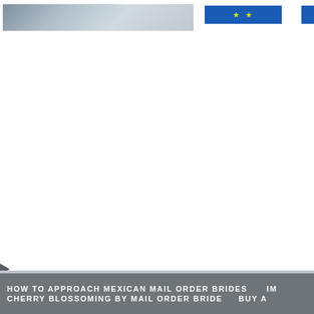[Figure (screenshot): Website header with a banner photo strip on the left (blurred/greyed out people image) and a blue navigation bar element with yellow stars on the right, plus a small blue box at the far right edge.]
[Figure (photo): Large white/blank main content area of a webpage.]
HOW TO APPROACH MEXICAN MAIL ORDER BRIDES   IM...
CHERRY BLOSSOMING BY MAIL ORDER BRIDE   BUY A...